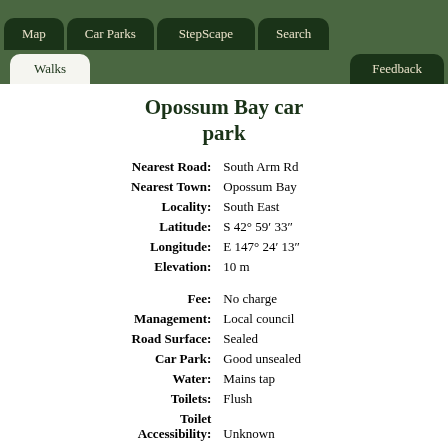Map | Car Parks | StepScape | Search | Walks | Feedback
Opossum Bay car park
| Field | Value |
| --- | --- |
| Nearest Road: | South Arm Rd |
| Nearest Town: | Opossum Bay |
| Locality: | South East |
| Latitude: | S 42° 59′ 33″ |
| Longitude: | E 147° 24′ 13″ |
| Elevation: | 10 m |
| Fee: | No charge |
| Management: | Local council |
| Road Surface: | Sealed |
| Car Park: | Good unsealed |
| Water: | Mains tap |
| Toilets: | Flush |
| Toilet Accessibility: | Unknown |
| Shelter: | Nearby |